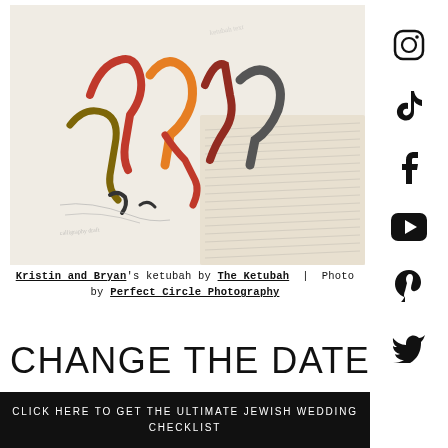[Figure (photo): Close-up photograph of a colorful Hebrew calligraphy ketubah document with red, orange, green, and grey lettering on white paper, alongside handwritten text in script]
Kristin and Bryan's ketubah by The Ketubah | Photo by Perfect Circle Photography
CHANGE THE DATE
CLOSE
CLICK HERE TO GET THE ULTIMATE JEWISH WEDDING CHECKLIST